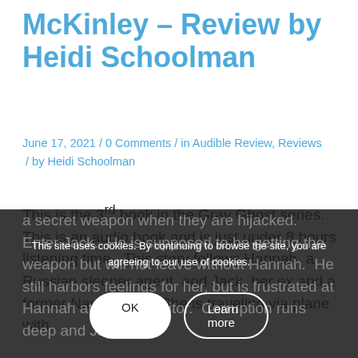McKinley – Review by Heidi Schoolman
June 17, 2021 / 0 Comments / in Audible Review, Reviews / by Heidi Schoolman
This is the 3rd book in the Gray Ghost series. This is an audio book and is just under 8 hours listening time. This story follows Hannah, a Russian sleeper agent, and Jack, her ex and a former Navy SEAL. She is traveling via plane with a secret weapon when they are hijacked. Enter Jack. He is supposed to be getting the weapon but will not leave without Hannah. He still harbors feelings for her, but is frustrated at Hannah at being a traitor. Corruption runs deep and Jack
This site uses cookies. By continuing to browse the site, you are agreeing to our use of cookies.